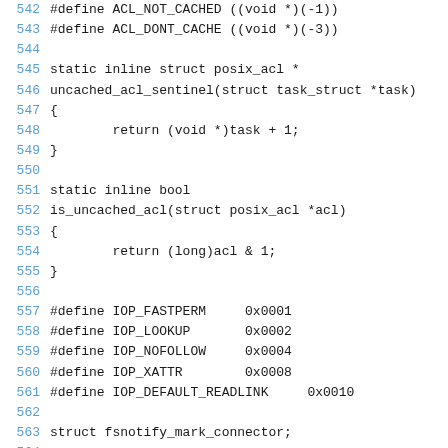542 #define ACL_NOT_CACHED ((void *)(-1))
543 #define ACL_DONT_CACHE ((void *)(-3))
544
545 static inline struct posix_acl *
546 uncached_acl_sentinel(struct task_struct *task)
547 {
548         return (void *)task + 1;
549 }
550
551 static inline bool
552 is_uncached_acl(struct posix_acl *acl)
553 {
554         return (long)acl & 1;
555 }
556
557 #define IOP_FASTPERM     0x0001
558 #define IOP_LOOKUP       0x0002
559 #define IOP_NOFOLLOW     0x0004
560 #define IOP_XATTR        0x0008
561 #define IOP_DEFAULT_READLINK     0x0010
562
563 struct fsnotify_mark_connector;
564
565 /*
566  * Keep mostly read-